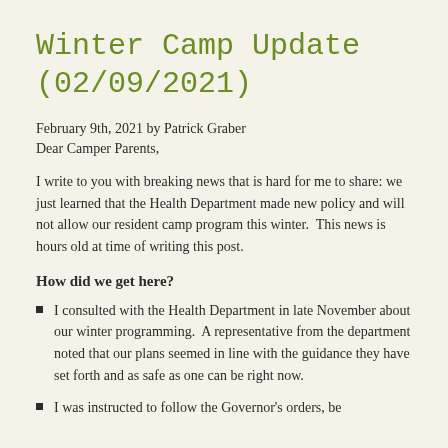Winter Camp Update (02/09/2021)
February 9th, 2021 by Patrick Graber
Dear Camper Parents,
I write to you with breaking news that is hard for me to share: we just learned that the Health Department made new policy and will not allow our resident camp program this winter.  This news is hours old at time of writing this post.
How did we get here?
I consulted with the Health Department in late November about our winter programming.  A representative from the department noted that our plans seemed in line with the guidance they have set forth and as safe as one can be right now.
I was instructed to follow the Governor's orders, be